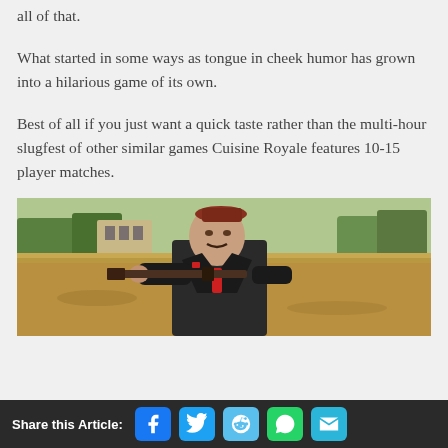all of that.
What started in some ways as tongue in cheek humor has grown into a hilarious game of its own.
Best of all if you just want a quick taste rather than the multi-hour slugfest of other similar games Cuisine Royale features 10-15 player matches.
[Figure (photo): Screenshot from Cuisine Royale game showing a character in a suit holding a rifle, standing in a field with buildings in the background]
Share this Article: [Facebook] [Twitter] [Reddit] [WhatsApp] [Email]